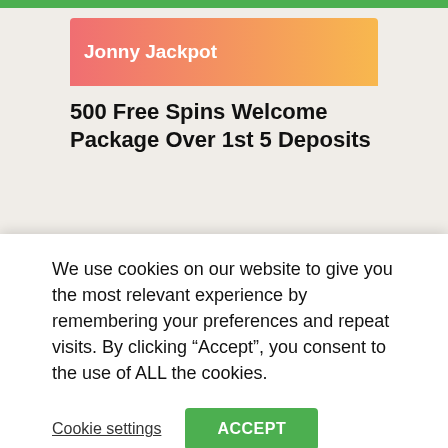[Figure (other): Green horizontal bar at top of page]
Jonny Jackpot
500 Free Spins Welcome Package Over 1st 5 Deposits
18+. New players only. One welcome package per player. Max bonus bet £5, Min deposit £20, 1st deposit: get 100 bonus spins, 2nd Deposit: get 75 bonus spins, 3rd deposit: get 125 bonus spins, 4th deposit: get 50 bonus spins, 5th deposit: get 150 bonus spins. All spins are on slot game Book of Dead only. Bonus funds must be used within 30 days and bonus spins within 10 days. Spins winnings credited as bonus. Max winnings from bonus spins are equivalent to the number of spins awarded. Bonus funds separate to Cash funds and are subject to 35x
We use cookies on our website to give you the most relevant experience by remembering your preferences and repeat visits. By clicking “Accept”, you consent to the use of ALL the cookies.
Cookie settings
ACCEPT